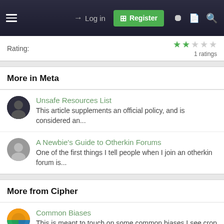Log in | Register
Rating: 1 ratings
More in Meta
Unsafe Resources List — This article supplements an official policy, and is considered an...
A Newbie's Guide to Otherkin Forums — One of the first things I tell people when I join an otherkin forum is...
More from Cipher
Common Biases — This is meant to touch on some common biases I see crop up a lot on...
Share this article